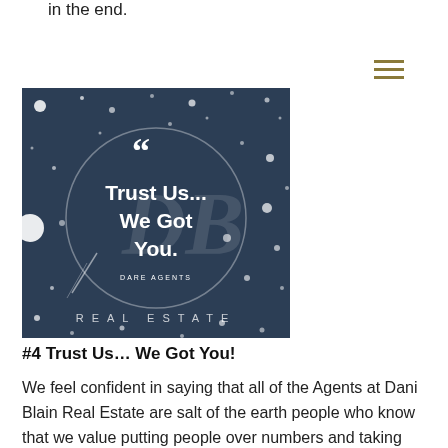in the end.
[Figure (illustration): Dark navy blue square image with white paint splatter/star-like dots and a circular logo in the center. Inside the circle: large white opening quotation marks, bold white text 'Trust Us... We Got You.' and smaller text 'DARE AGENTS', with a stylized 'DB' monogram watermark. At the bottom of the image in spaced letters: 'REAL ESTATE'.]
#4 Trust Us… We Got You!
We feel confident in saying that all of the Agents at Dani Blain Real Estate are salt of the earth people who know that we value putting people over numbers and taking care of our clients is of utmost